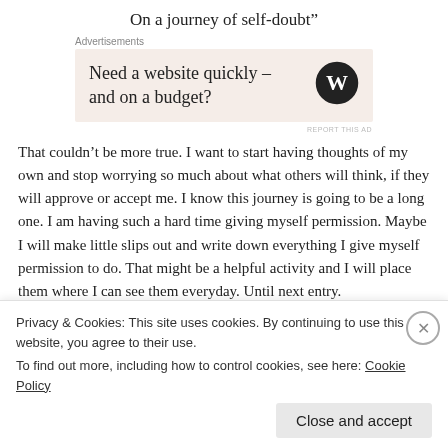On a journey of self-doubt”
[Figure (other): Advertisement box with text 'Need a website quickly – and on a budget?' and WordPress logo on beige/pink background]
That couldn’t be more true. I want to start having thoughts of my own and stop worrying so much about what others will think, if they will approve or accept me. I know this journey is going to be a long one. I am having such a hard time giving myself permission. Maybe I will make little slips out and write down everything I give myself permission to do. That might be a helpful activity and I will place them where I can see them everyday. Until next entry.
Privacy & Cookies: This site uses cookies. By continuing to use this website, you agree to their use. To find out more, including how to control cookies, see here: Cookie Policy